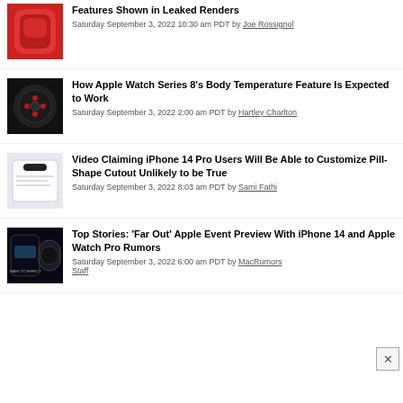[Figure (photo): Red AirPods case thumbnail]
Features Shown in Leaked Renders
Saturday September 3, 2022 10:30 am PDT by Joe Rossignol
[Figure (photo): Apple Watch body temperature sensor thumbnail]
How Apple Watch Series 8's Body Temperature Feature Is Expected to Work
Saturday September 3, 2022 2:00 am PDT by Hartley Charlton
[Figure (photo): iPhone 14 Pro pill-shape cutout thumbnail]
Video Claiming iPhone 14 Pro Users Will Be Able to Customize Pill-Shape Cutout Unlikely to be True
Saturday September 3, 2022 8:03 am PDT by Sami Fathi
[Figure (photo): Apple Watch Pro and iPhone 14 event preview thumbnail]
Top Stories: 'Far Out' Apple Event Preview With iPhone 14 and Apple Watch Pro Rumors
Saturday September 3, 2022 6:00 am PDT by MacRumors Staff